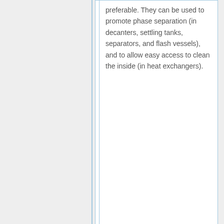preferable. They can be used to promote phase separation (in decanters, settling tanks, separators, and flash vessels), and to allow easy access to clean the inside (in heat exchangers).
preferable. They can be used to promote phase separation (in decanters, settling tanks, separators, and flash vessels), and to allow easy access to clean the inside (in heat exchangers).
==Fabrication==
In general, vessel shells are made by rolling and welding. It is easier for thin walls, however there may still be difficulty for